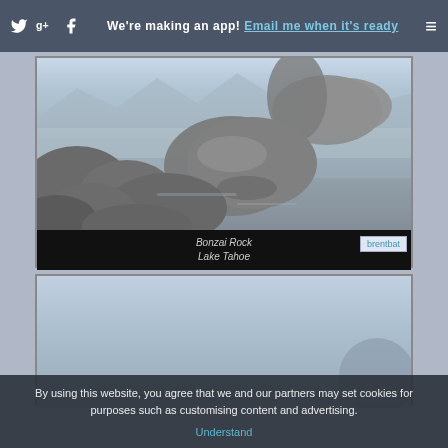We're making an app! Email me when it's ready
[Figure (photo): Photograph of rounded grey rocks/boulders resting in still, misty blue water at Bonzai Rock, Lake Tahoe. Long exposure photography creating silky smooth water effect.]
Bonzai Rock
Lake Tahoe
[Figure (photo): Partial photograph showing blue sky and beginning of another landscape photo, partially obscured by cookie consent banner.]
By using this website, you agree that we and our partners may set cookies for purposes such as customising content and advertising. Understand